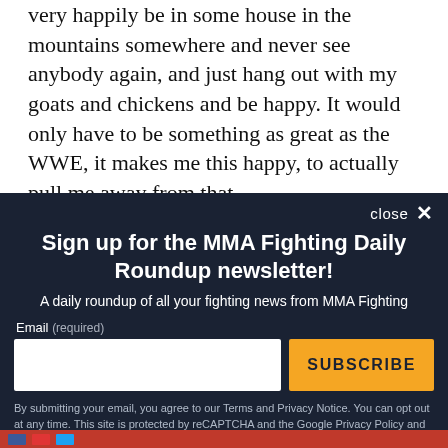very happily be in some house in the mountains somewhere and never see anybody again, and just hang out with my goats and chickens and be happy. It would only have to be something as great as the WWE, it makes me this happy, to actually pull me away from that.
“Otherwise, probably no one would hear from me. I would li...
[Figure (other): Newsletter signup modal overlay on dark navy background. Title: 'Sign up for the MMA Fighting Daily Roundup newsletter!' Subtitle: 'A daily roundup of all your fighting news from MMA Fighting'. Email input field and orange SUBSCRIBE button. Footer legal text about Terms, Privacy Notice, reCAPTCHA.]